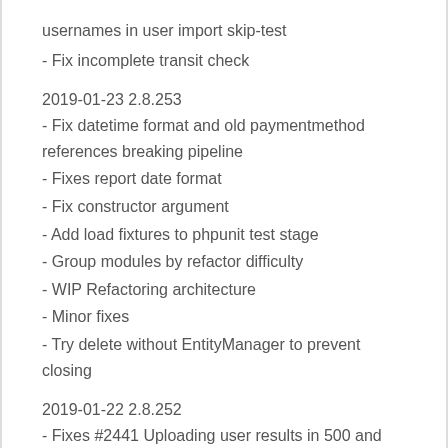usernames in user import skip-test
- Fix incomplete transit check
2019-01-23 2.8.253
- Fix datetime format and old paymentmethod references breaking pipeline
- Fixes report date format
- Fix constructor argument
- Add load fixtures to phpunit test stage
- Group modules by refactor difficulty
- WIP Refactoring architecture
- Minor fixes
- Try delete without EntityManager to prevent closing
2019-01-22 2.8.252
- Fixes #2441 Uploading user results in 500 and out of memory error.
- Expense dump
- Update GTM id for app.declaree.de
- Refactor ExactAccount to use AutomatedExportAccount